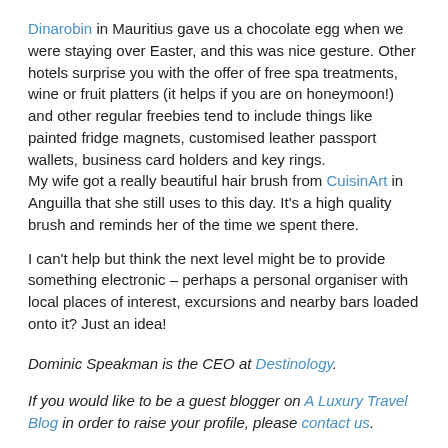Dinarobin in Mauritius gave us a chocolate egg when we were staying over Easter, and this was nice gesture. Other hotels surprise you with the offer of free spa treatments, wine or fruit platters (it helps if you are on honeymoon!) and other regular freebies tend to include things like painted fridge magnets, customised leather passport wallets, business card holders and key rings. My wife got a really beautiful hair brush from CuisinArt in Anguilla that she still uses to this day. It's a high quality brush and reminds her of the time we spent there.
I can't help but think the next level might be to provide something electronic – perhaps a personal organiser with local places of interest, excursions and nearby bars loaded onto it? Just an idea!
Dominic Speakman is the CEO at Destinology.
If you would like to be a guest blogger on A Luxury Travel Blog in order to raise your profile, please contact us.